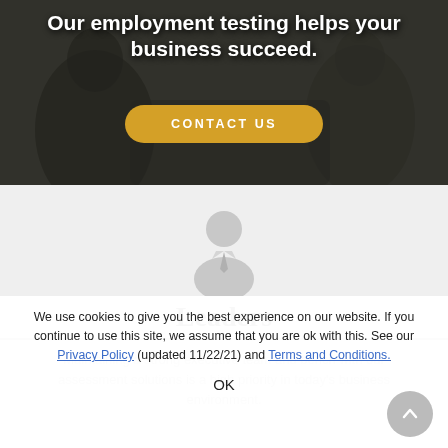Our employment testing helps your business succeed.
[Figure (illustration): Yellow 'CONTACT US' button on dark hero background with people in background]
[Figure (illustration): Gray placeholder person/executive silhouette icon]
Leaders
Maintaining a strong executive team and bench with our assessment solutions is a high priority in today's business environment.
We use cookies to give you the best experience on our website. If you continue to use this site, we assume that you are ok with this. See our Privacy Policy (updated 11/22/21) and Terms and Conditions.
OK